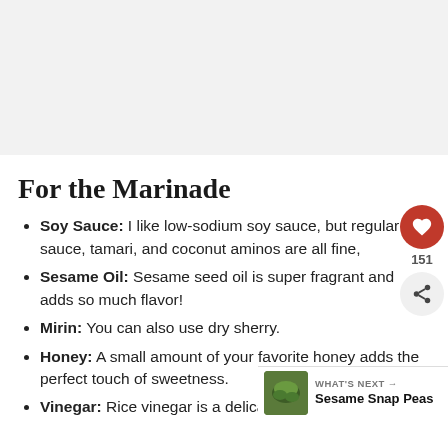[Figure (photo): Large food/recipe photograph placeholder at top of page, light gray background]
For the Marinade
Soy Sauce: I like low-sodium soy sauce, but regular soy sauce, tamari, and coconut aminos are all fine,
Sesame Oil: Sesame seed oil is super fragrant and adds so much flavor!
Mirin: You can also use dry sherry.
Honey: A small amount of your favorite h... perfect touch of sweetness.
Vinegar: Rice vinegar is a delicate vinegar that's just